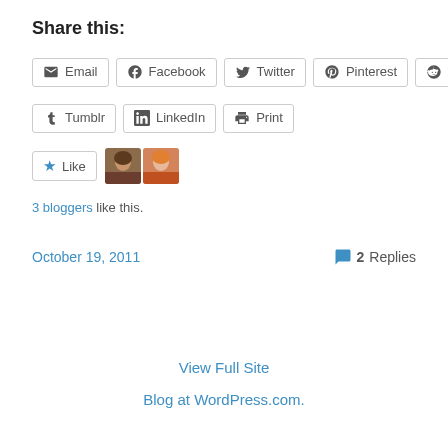Share this:
Email | Facebook | Twitter | Pinterest | Reddit | Tumblr | LinkedIn | Print
[Figure (other): Like button with star icon and two blogger avatar thumbnails]
3 bloggers like this.
October 19, 2011    2 Replies
View Full Site
Blog at WordPress.com.